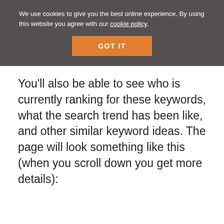We use cookies to give you the best online experience. By using this website you agree with our cookie policy.
GOT IT
You’ll also be able to see who is currently ranking for these keywords, what the search trend has been like, and other similar keyword ideas. The page will look something like this (when you scroll down you get more details):